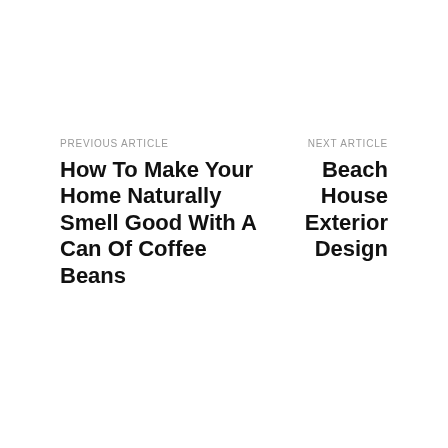PREVIOUS ARTICLE
How To Make Your Home Naturally Smell Good With A Can Of Coffee Beans
NEXT ARTICLE
Beach House Exterior Design